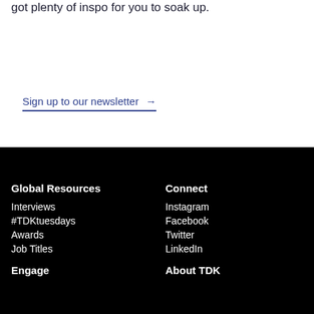got plenty of inspo for you to soak up.
Sign up to our newsletter →
Global Resources
Interviews
#TDKtuesdays
Awards
Job Titles
Connect
Instagram
Facebook
Twitter
LinkedIn
Engage
About TDK